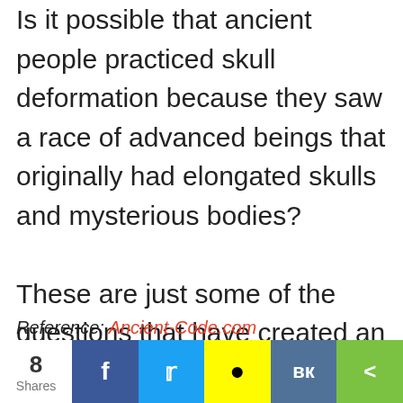Is it possible that ancient people practiced skull deformation because they saw a race of advanced beings that originally had elongated skulls and mysterious bodies?

These are just some of the questions that have created an ongoing debate in the archaeological community.
Reference: Ancient-Code.com
8 Shares  [Facebook] [Twitter] [Snapchat] [VK] [Share]